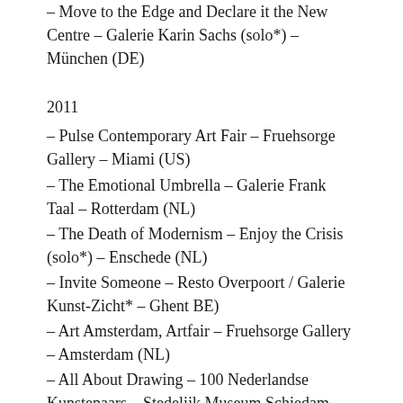– Move to the Edge and Declare it the New Centre – Galerie Karin Sachs (solo*) – München (DE)
2011
– Pulse Contemporary Art Fair – Fruehsorge Gallery – Miami (US)
– The Emotional Umbrella – Galerie Frank Taal – Rotterdam (NL)
– The Death of Modernism – Enjoy the Crisis (solo*) – Enschede (NL)
– Invite Someone – Resto Overpoort / Galerie Kunst-Zicht* – Ghent BE)
– Art Amsterdam, Artfair – Fruehsorge Gallery – Amsterdam (NL)
– All About Drawing – 100 Nederlandse Kunstenaars – Stedelijk Museum Schiedam